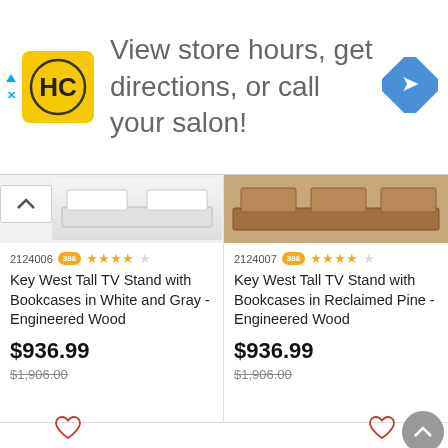[Figure (screenshot): Advertisement banner for HC (Hair Club) salon with yellow logo, text 'View store hours, get directions, or call your salon!' and a blue direction icon]
[Figure (photo): Key West Tall TV Stand with Bookcases in White and Gray product image]
2124006
388 ★★★★☆
Key West Tall TV Stand with Bookcases in White and Gray - Engineered Wood
$936.99
$1,906.00
[Figure (photo): Key West Tall TV Stand with Bookcases in Reclaimed Pine product image]
2124007
388 ★★★★☆
Key West Tall TV Stand with Bookcases in Reclaimed Pine - Engineered Wood
$936.99
$1,906.00
[Figure (photo): Partial product images in second row with heart/wishlist icons and back-to-top button]